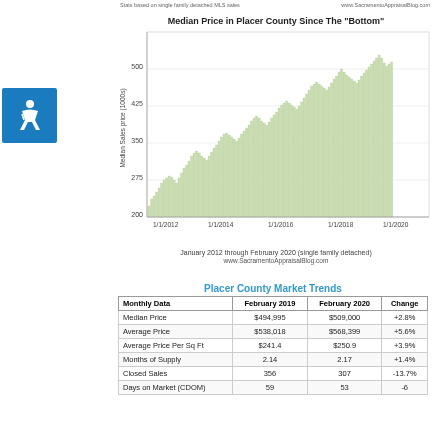Stats based on single family detached MLS sales    www.SacramentoAppraisalBlog.com
[Figure (bar-chart): Median Price in Placer County Since The "Bottom"]
January 2012 through February 2020 (single family detached)
www.SacramentoAppraisalBlog.com
Placer County Market Trends
| Monthly Data | February 2019 | February 2020 | Change |
| --- | --- | --- | --- |
| Median Price | $494,995 | $509,000 | +2.8% |
| Average Price | $538,018 | $568,399 | +5.6% |
| Average Price Per Sq Ft | $241.4 | $250.9 | +3.9% |
| Months of Supply | 2.14 | 2.17 | +1.4% |
| Closed Sales | 356 | 307 | -13.7% |
| Days on Market (CDOM) | 59 | 53 | -6 |